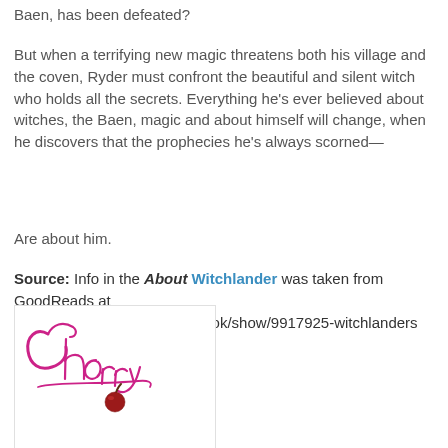Baen, has been defeated?
But when a terrifying new magic threatens both his village and the coven, Ryder must confront the beautiful and silent witch who holds all the secrets. Everything he's ever believed about witches, the Baen, magic and about himself will change, when he discovers that the prophecies he's always scorned—
Are about him.
Source: Info in the About Witchlander was taken from GoodReads at http://www.goodreads.com/book/show/9917925-witchlanders on 15/08/2011.
[Figure (illustration): Stylized cursive logo reading 'cherry' in magenta/pink script with a cherry fruit (red with stem) below the text, on a white background]